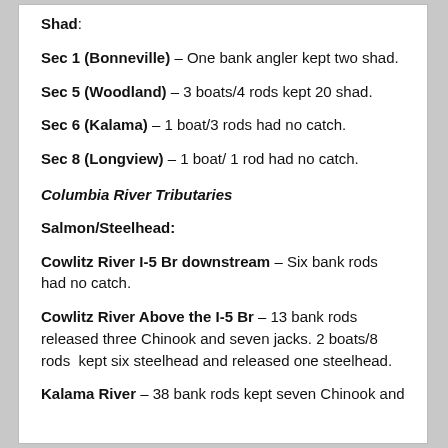Shad:
Sec 1 (Bonneville) – One bank angler kept two shad.
Sec 5 (Woodland) – 3 boats/4 rods kept 20 shad.
Sec 6 (Kalama) – 1 boat/3 rods had no catch.
Sec 8 (Longview) – 1 boat/ 1 rod had no catch.
Columbia River Tributaries
Salmon/Steelhead:
Cowlitz River I-5 Br downstream – Six bank rods had no catch.
Cowlitz River Above the I-5 Br – 13 bank rods released three Chinook and seven jacks. 2 boats/8 rods kept six steelhead and released one steelhead.
Kalama River – 38 bank rods kept seven Chinook and